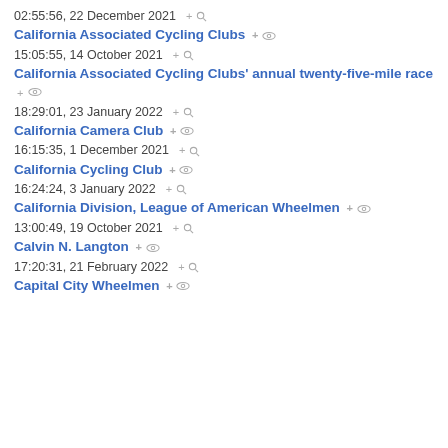02:55:56, 22 December 2021
California Associated Cycling Clubs
15:05:55, 14 October 2021
California Associated Cycling Clubs' annual twenty-five-mile race
18:29:01, 23 January 2022
California Camera Club
16:15:35, 1 December 2021
California Cycling Club
16:24:24, 3 January 2022
California Division, League of American Wheelmen
13:00:49, 19 October 2021
Calvin N. Langton
17:20:31, 21 February 2022
Capital City Wheelmen